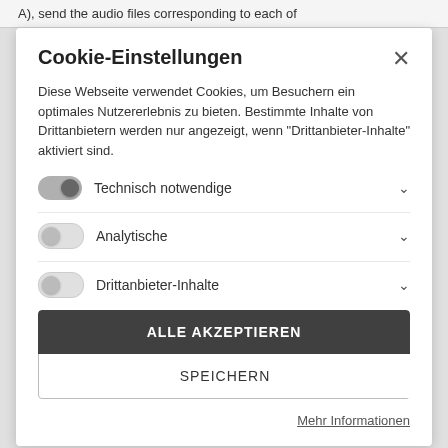A), send the audio files corresponding to each of
Cookie-Einstellungen
Diese Webseite verwendet Cookies, um Besuchern ein optimales Nutzererlebnis zu bieten. Bestimmte Inhalte von Drittanbietern werden nur angezeigt, wenn "Drittanbieter-Inhalte" aktiviert sind.
Technisch notwendige
Analytische
Drittanbieter-Inhalte
ALLE AKZEPTIEREN
SPEICHERN
Mehr Informationen